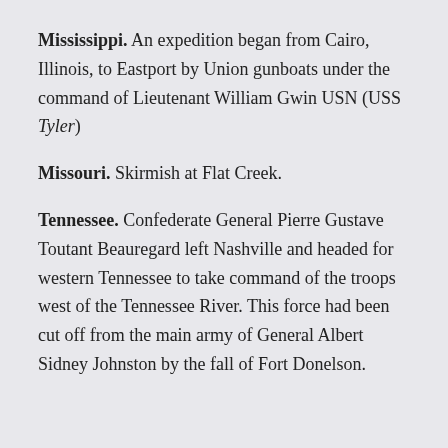Mississippi. An expedition began from Cairo, Illinois, to Eastport by Union gunboats under the command of Lieutenant William Gwin USN (USS Tyler)
Missouri. Skirmish at Flat Creek.
Tennessee. Confederate General Pierre Gustave Toutant Beauregard left Nashville and headed for western Tennessee to take command of the troops west of the Tennessee River. This force had been cut off from the main army of General Albert Sidney Johnston by the fall of Fort Donelson.